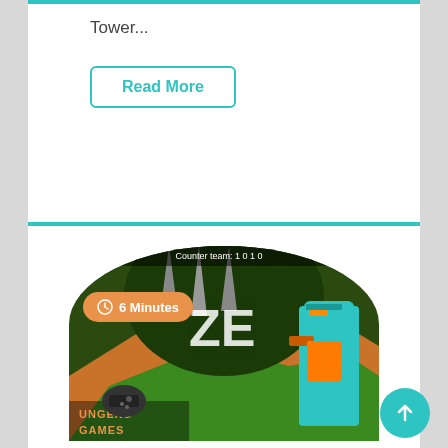Tower...
Read More
[Figure (screenshot): Screenshot of a multiplayer hacked game with a robot character and maze-like environment. Orange badge reads '6 Minutes'. Logo at bottom left reads 'UNGENS GAMES'.]
how
2 Player Games Hacked Unblocked